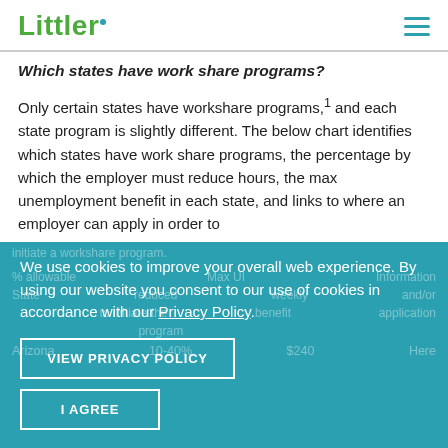Littler
Which states have work share programs?
Only certain states have workshare programs,¹ and each state program is slightly different. The below chart identifies which states have work share programs, the percentage by which the employer must reduce hours, the max unemployment benefit in each state, and links to where an employer can apply in order to initiate a workshare program.
We use cookies to improve your overall web experience. By using our website you consent to our use of cookies in accordance with our Privacy Policy.
VIEW PRIVACY POLICY
I AGREE